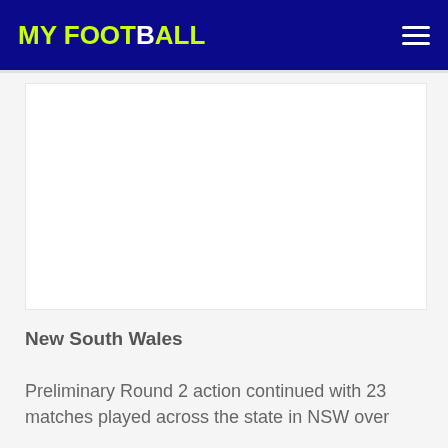MY FOOTBALL
[Figure (other): White rectangular placeholder image area on light grey background]
New South Wales
Preliminary Round 2 action continued with 23 matches played across the state in NSW over